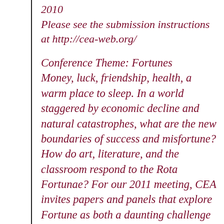2010 Please see the submission instructions at http://cea-web.org/
Conference Theme: Fortunes Money, luck, friendship, health, a warm place to sleep. In a world staggered by economic decline and natural catastrophes, what are the new boundaries of success and misfortune? How do art, literature, and the classroom respond to the Rota Fortunae? For our 2011 meeting, CEA invites papers and panels that explore Fortune as both a daunting challenge and an elusive ideal. For more information, please see the full CFP at